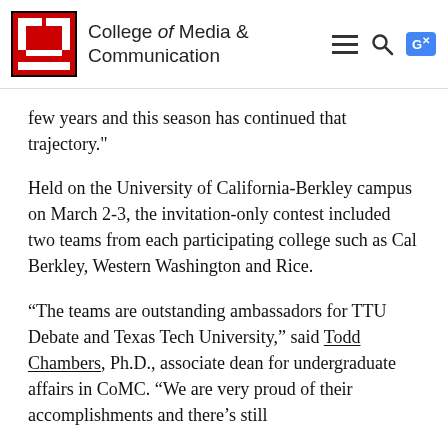College of Media & Communication
few years and this season has continued that trajectory."
Held on the University of California-Berkley campus on March 2-3, the invitation-only contest included two teams from each participating college such as Cal Berkley, Western Washington and Rice.
“The teams are outstanding ambassadors for TTU Debate and Texas Tech University,” said Todd Chambers, Ph.D., associate dean for undergraduate affairs in CoMC. “We are very proud of their accomplishments and there's still